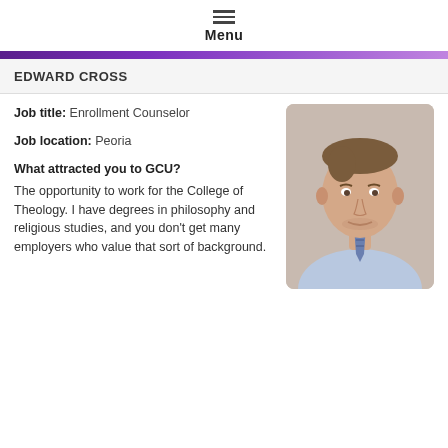Menu
EDWARD CROSS
Job title: Enrollment Counselor
Job location: Peoria
What attracted you to GCU? The opportunity to work for the College of Theology. I have degrees in philosophy and religious studies, and you don't get many employers who value that sort of background.
[Figure (photo): Headshot of Edward Cross, a man in a light blue shirt and patterned tie, smiling slightly.]